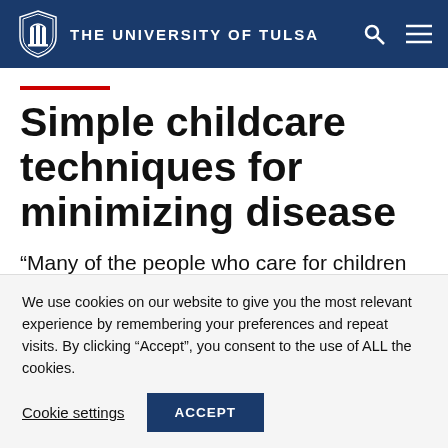THE UNIVERSITY OF TULSA
Simple childcare techniques for minimizing disease
“Many of the people who care for children in Nigeria are passionate about their work, but they lack some of the basic childcare skills
We use cookies on our website to give you the most relevant experience by remembering your preferences and repeat visits. By clicking “Accept”, you consent to the use of ALL the cookies.
Cookie settings   ACCEPT